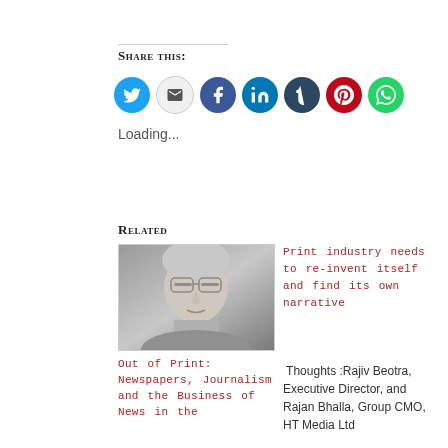Share this:
[Figure (infographic): Row of social sharing icon circles: Twitter (blue), Email (grey), Facebook (blue), LinkedIn (blue), Tumblr (dark blue), Pinterest (red), WhatsApp (green)]
Loading...
Related
[Figure (photo): Black and white or greyscale photo of an older man with grey hair and glasses, looking upward]
Out of Print: Newspapers, Journalism and the Business of News in the
Print industry needs to re-invent itself and find its own narrative
Thoughts :Rajiv Beotra, Executive Director, and Rajan Bhalla, Group CMO, HT Media Ltd